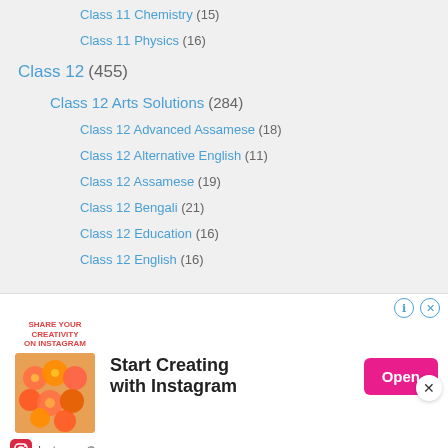Class 11 Chemistry (15)
Class 11 Physics (16)
Class 12 (455)
Class 12 Arts Solutions (284)
Class 12 Advanced Assamese (18)
Class 12 Alternative English (11)
Class 12 Assamese (19)
Class 12 Bengali (21)
Class 12 Education (16)
Class 12 English (16)
[Figure (other): Instagram advertisement banner: 'Start Creating with Instagram' with an Open button and food image]